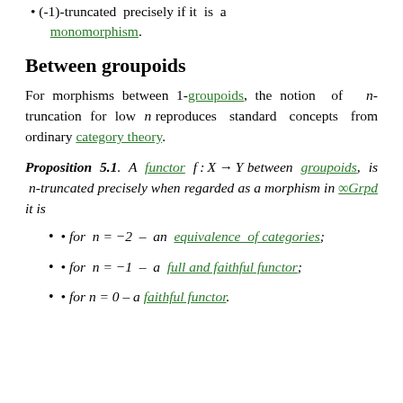(-1)-truncated precisely if it is a monomorphism.
Between groupoids
For morphisms between 1-groupoids, the notion of n-truncation for low n reproduces standard concepts from ordinary category theory.
Proposition 5.1. A functor f:X→Y between groupoids, is n-truncated precisely when regarded as a morphism in ∞Grpd it is
for n = −2 – an equivalence of categories;
for n = −1 – a full and faithful functor;
for n = 0 – a faithful functor.